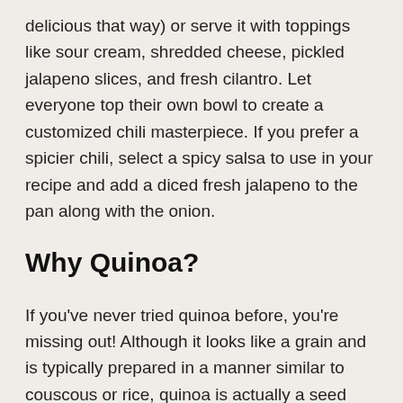delicious that way) or serve it with toppings like sour cream, shredded cheese, pickled jalapeno slices, and fresh cilantro. Let everyone top their own bowl to create a customized chili masterpiece. If you prefer a spicier chili, select a spicy salsa to use in your recipe and add a diced fresh jalapeno to the pan along with the onion.
Why Quinoa?
If you've never tried quinoa before, you're missing out! Although it looks like a grain and is typically prepared in a manner similar to couscous or rice, quinoa is actually a seed and consequently delivers the amazing nutrient profile often associated with seeds. It's high in protein and fiber and a great source of essential minerals and inflammation-reducing phytonutrients. It has an approachable nutty flavor and cooks in twenty minutes or